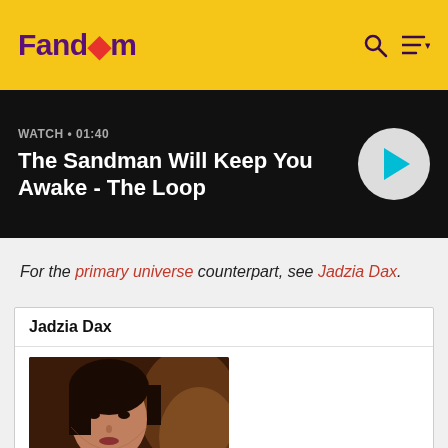Fandom
[Figure (screenshot): Video banner: WATCH • 01:40 - The Sandman Will Keep You Awake - The Loop, with a circular play button]
For the primary universe counterpart, see Jadzia Dax.
Jadzia Dax
[Figure (photo): Photo of Jadzia Dax character, a dark-haired woman]